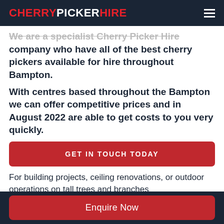CHERRYPICKERHIRE
We are a specialist Cherry Picker Hire company who have all of the best cherry pickers available for hire throughout Bampton.
With centres based throughout the Bampton we can offer competitive prices and in August 2022 are able to get costs to you very quickly.
[Figure (other): Red button with text GET IN TOUCH TODAY]
For building projects, ceiling renovations, or outdoor operations on tall trees and branches
[Figure (other): Red button with text Enquire Now]